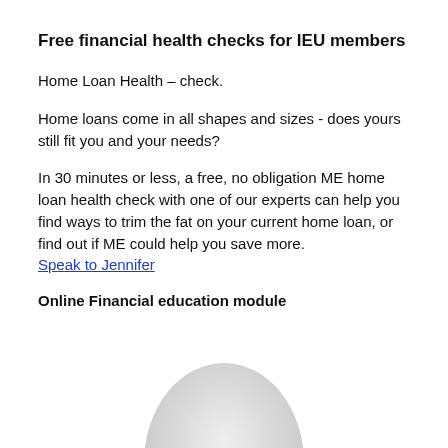Free financial health checks for IEU members
Home Loan Health – check.
Home loans come in all shapes and sizes - does yours still fit you and your needs?
In 30 minutes or less, a free, no obligation ME home loan health check with one of our experts can help you find ways to trim the fat on your current home loan, or find out if ME could help you save more. Speak to Jennifer
Online Financial education module
[Figure (illustration): Partial view of a light grey egg shape emerging from the bottom of the page]